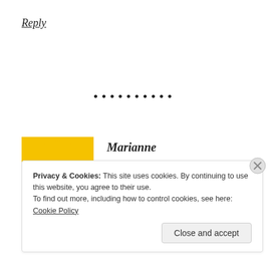Reply
[Figure (other): Decorative dot separator line]
[Figure (photo): Avatar photo of Marianne – colorful pop-art style portrait of a woman with blonde hair and sunglasses]
Marianne
July 19, 2013 at 8:22 am
Me neither 🙂
Privacy & Cookies: This site uses cookies. By continuing to use this website, you agree to their use.
To find out more, including how to control cookies, see here: Cookie Policy